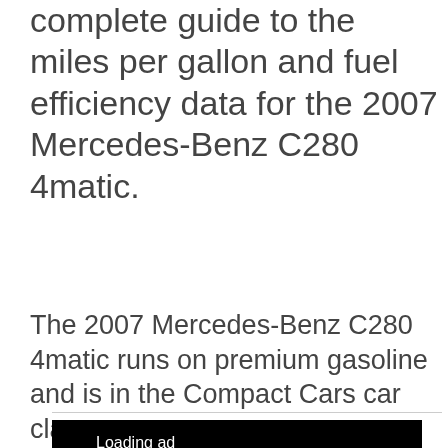complete guide to the miles per gallon and fuel efficiency data for the 2007 Mercedes-Benz C280 4matic.
The 2007 Mercedes-Benz C280 4matic runs on premium gasoline and is in the Compact Cars car class.
[Figure (other): Black advertisement loading placeholder with 'Loading ad' text and a spinning loading indicator arc in white on black background, followed by a grey shadow area below.]